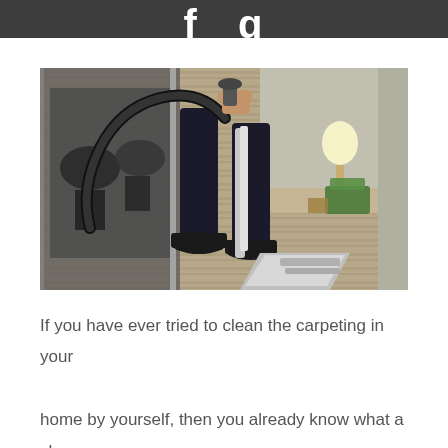[Figure (photo): A carpet cleaning technician in dark uniform using a professional steam carpet cleaning machine on a patterned commercial carpet in an office environment. On the left side is a glass partition reflecting office chairs, and on the right is a warmly lit lounge area with green cushions and a lamp.]
If you have ever tried to clean the carpeting in your home by yourself, then you already know what a chore